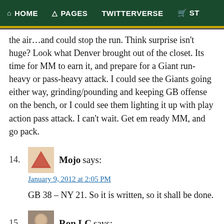HOME  PAGES  TWITTERVERSE  ST
the air…and could stop the run. Think surprise isn't huge? Look what Denver brought out of the closet. Its time for MM to earn it, and prepare for a Giant run-heavy or pass-heavy attack. I could see the Giants going either way, grinding/pounding and keeping GB offense on the bench, or I could see them lighting it up with play action pass attack. I can't wait. Get em ready MM, and go pack.
14. Mojo says:
January 9, 2012 at 2:05 PM

GB 38 – NY 21. So it is written, so it shall be done.
15. Ron LC says:
January 9, 2012 at 2:22 PM

Sorry for the off topic. Some bad news coming from GB. Joe